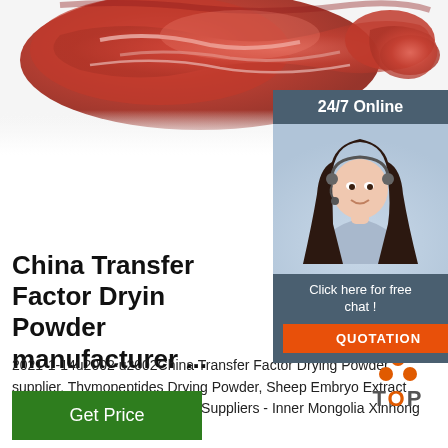[Figure (photo): Close-up photo of raw meat (reddish-pink flesh and sinew) on a white background, positioned at the top of the page]
[Figure (photo): Chat widget with dark blue-gray background header reading '24/7 Online', a photo of a smiling female customer service agent wearing a headset, followed by 'Click here for free chat!' text and an orange 'QUOTATION' button]
China Transfer Factor Drying Powder manufacturer ...
2021-1-14u2002·u2002China Transfer Factor Drying Powder supplier, Thymopeptides Drying Powder, Sheep Embryo Extract Drying Powder Manufacturers Suppliers - Inner Mongolia Xinhong Biotechnology Co., Ltd.
[Figure (logo): TOP logo with orange dots arranged in a triangle above the word TOP in gray/orange text]
Get Price